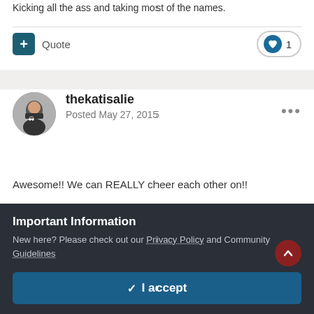Kicking all the ass and taking most of the names.
Quote  ♥ 1
thekatisalie
Posted May 27, 2015
Awesome!! We can REALLY cheer each other on!!
Quote  ♥ 1
Important Information
New here? Please check out our Privacy Policy and Community Guidelines
✓  I accept